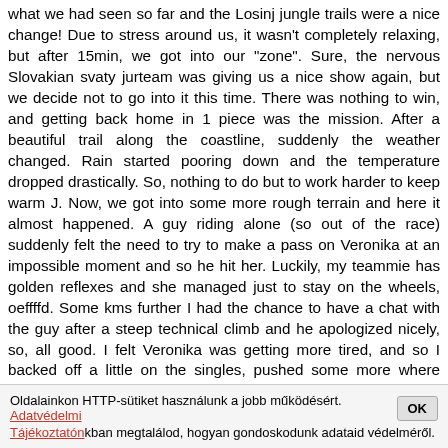what we had seen so far and the Losinj jungle trails were a nice change! Due to stress around us, it wasn't completely relaxing, but after 15min, we got into our "zone". Sure, the nervous Slovakian svaty jurteam was giving us a nice show again, but we decide not to go into it this time. There was nothing to win, and getting back home in 1 piece was the mission. After a beautiful trail along the coastline, suddenly the weather changed. Rain started pooring down and the temperature dropped drastically. So, nothing to do but to work harder to keep warm J. Now, we got into some more rough terrain and here it almost happened. A guy riding alone (so out of the race) suddenly felt the need to try to make a pass on Veronika at an impossible moment and so he hit her. Luckily, my teammie has golden reflexes and she managed just to stay on the wheels, oeffffd. Some kms further I had the chance to have a chat with the guy after a steep technical climb and he apologized nicely, so, all good. I felt Veronika was getting more tired, and so I backed off a little on the singles, pushed some more where possible. Somehow, we must have been fast enough, because once again, in the last kms, we got back to the team in 2nd and sure, it got them nervous J. We had 3kms left and after looking at Veronika for a second, we understood eachother without words: let's play so we did, maximum effort and back to the wheels of the Slovakians. By now, we got to the leader of the chase group and into the wet stones, so I decided to end the game here and take 3rd, great job!
Oldalainkon HTTP-sütiket használunk a jobb működésért. Adatvédelmi Tájékoztatónkban megtalálod, hogyan gondoskodunk adataid védelméről.